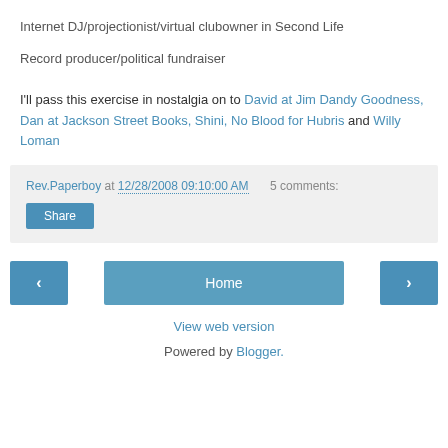Internet DJ/projectionist/virtual clubowner in Second Life
Record producer/political fundraiser
I'll pass this exercise in nostalgia on to David at Jim Dandy Goodness, Dan at Jackson Street Books, Shini, No Blood for Hubris and Willy Loman
Rev.Paperboy at 12/28/2008 09:10:00 AM   5 comments:
Share
Home
View web version
Powered by Blogger.